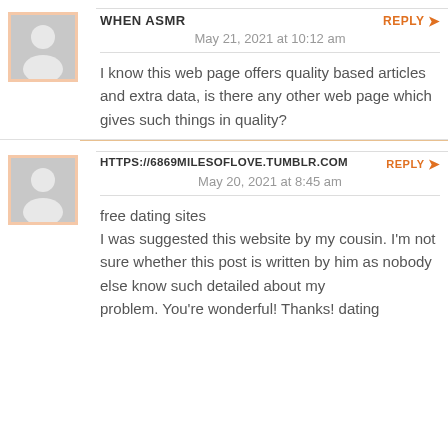WHEN ASMR
REPLY
May 21, 2021 at 10:12 am
I know this web page offers quality based articles and extra data, is there any other web page which gives such things in quality?
HTTPS://6869MILESOFLOVE.TUMBLR.COM
REPLY
May 20, 2021 at 8:45 am
free dating sites
I was suggested this website by my cousin. I'm not sure whether this post is written by him as nobody else know such detailed about my
problem. You're wonderful! Thanks! dating